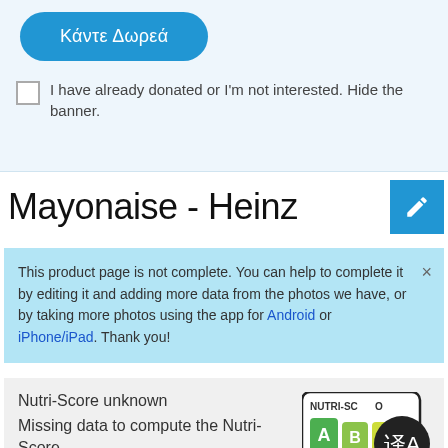[Figure (screenshot): Blue rounded donate button with Greek text 'Κάντε Δωρεά']
I have already donated or I'm not interested. Hide the banner.
Mayonaise - Heinz
This product page is not complete. You can help to complete it by editing it and adding more data from the photos we have, or by taking more photos using the app for Android or iPhone/iPad. Thank you!
Nutri-Score unknown
Missing data to compute the Nutri-Score
[Figure (infographic): Nutri-Score badge showing A B C letters with dark translation overlay icon]